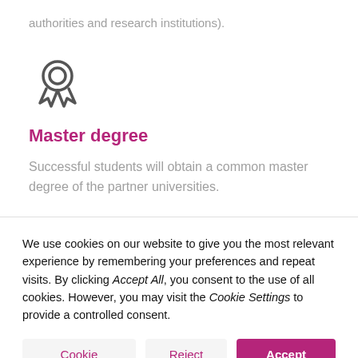authorities and research institutions).
[Figure (illustration): Medal/award ribbon icon in dark gray outline style]
Master degree
Successful students will obtain a common master degree of the partner universities.
We use cookies on our website to give you the most relevant experience by remembering your preferences and repeat visits. By clicking Accept All, you consent to the use of all cookies. However, you may visit the Cookie Settings to provide a controlled consent.
Cookie Settings | Reject All | Accept All